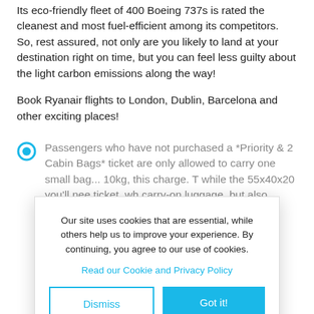Its eco-friendly fleet of 400 Boeing 737s is rated the cleanest and most fuel-efficient among its competitors. So, rest assured, not only are you likely to land at your destination right on time, but you can feel less guilty about the light carbon emissions along the way!
Book Ryanair flights to London, Dublin, Barcelona and other exciting places!
Passengers who have not purchased a *Priority & 2 Cabin Bags* ticket are only allowed to carry one small bag... 10kg, this... charge. T... while the... 55x40x20... you'll nee... ticket, wh... carry-on luggage, but also priority access on board. **Family Plus** ticket holders have a 2x20kg checked baggage allowance, as well as 2 cabin
Our site uses cookies that are essential, while others help us to improve your experience. By continuing, you agree to our use of cookies.
Read our Cookie and Privacy Policy
Dismiss
Got it!